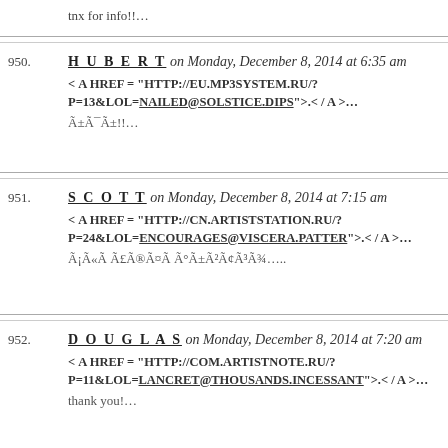tnx for info!!…
950. HUBERT on Monday, December 8, 2014 at 6:35 am
< A HREF = "HTTP://EU.MP3SYSTEM.RU/?P=13&LOL=NAILED@SOLSTICE.DIPS">.</ A >…
Ã±Ã¯Ã±!!…
951. SCOTT on Monday, December 8, 2014 at 7:15 am
< A HREF = "HTTP://CN.ARTISTSTATION.RU/?P=24&LOL=ENCOURAGES@VISCERA.PATTER">.</ A >…
Ã¡Ã«Ã Ã£Ã®Ã¤Ã Ã°Ã±Ã²Ã¢Ã³Ã¾….
952. DOUGLAS on Monday, December 8, 2014 at 7:20 am
< A HREF = "HTTP://COM.ARTISTNOTE.RU/?P=11&LOL=LANCRET@THOUSANDS.INCESSANT">.</ A >…
thank you!…